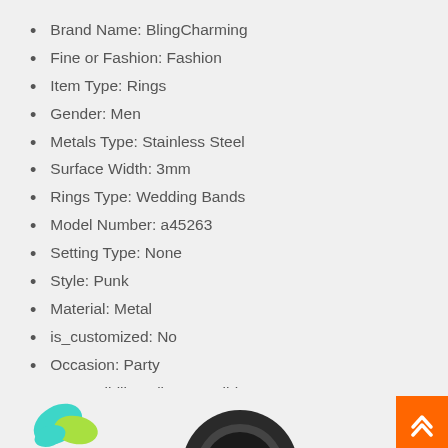Brand Name: BlingCharming
Fine or Fashion: Fashion
Item Type: Rings
Gender: Men
Metals Type: Stainless Steel
Surface Width: 3mm
Rings Type: Wedding Bands
Model Number: a45263
Setting Type: None
Style: Punk
Material: Metal
is_customized: No
Occasion: Party
Compatibility: All Compatible
Shape\pattern: Round
Surface Width: 22mm
Function: none
[Figure (illustration): Decorative leaf/logo icon in teal and yellow-green colors at bottom left, and a ring image partially visible at bottom center.]